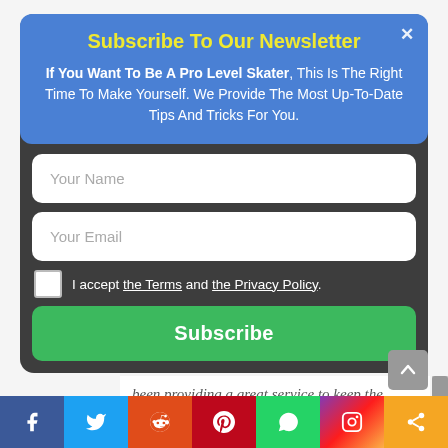Subscribe To Our Newsletter
If You Want To Be A Pro Level Skater, This Is The Right Time To Make Yourself. We Provide The Most Up-To-Date Tips And Tricks For You.
Your Name
Your Email
I accept the Terms and the Privacy Policy.
Subscribe
been providing a great service to keep the bearing active
⚡ by Convertful
It is used for multi-purpose and is based on